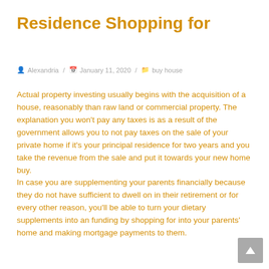Residence Shopping for
Alexandria / January 11, 2020 / buy house
Actual property investing usually begins with the acquisition of a house, reasonably than raw land or commercial property. The explanation you won't pay any taxes is as a result of the government allows you to not pay taxes on the sale of your private home if it's your principal residence for two years and you take the revenue from the sale and put it towards your new home buy.
In case you are supplementing your parents financially because they do not have sufficient to dwell on in their retirement or for every other reason, you'll be able to turn your dietary supplements into an funding by shopping for into your parents' home and making mortgage payments to them.